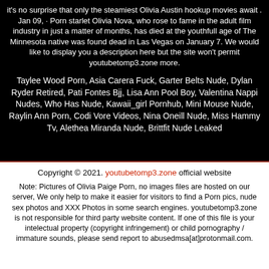it's no surprise that only the steamiest Olivia Austin hookup movies await . Jan 09,  · Porn starlet Olivia Nova, who rose to fame in the adult film industry in just a matter of months, has died at the youthfull age of The Minnesota native was found dead in Las Vegas on January 7. We would like to display you a description here but the site won't permit youtubetomp3.zone more.
Taylee Wood Porn, Asia Carera Fuck, Garter Belts Nude, Dylan Ryder Retired, Pati Fontes Bjj, Lisa Ann Pool Boy, Valentina Nappi Nudes, Who Has Nude, Kawaii_girl Pornhub, Mini Mouse Nude, Raylin Ann Porn, Codi Vore Videos, Nina Oneill Nude, Miss Hammy Tv, Alethea Miranda Nude, Brittfit Nude Leaked
Copyright © 2021. youtubetomp3.zone official website
Note: Pictures of Olivia Paige Porn, no images files are hosted on our server, We only help to make it easier for visitors to find a Porn pics, nude sex photos and XXX Photos in some search engines. youtubetomp3.zone is not responsible for third party website content. If one of this file is your intelectual property (copyright infringement) or child pornography / immature sounds, please send report to abusedmsa[at]protonmail.com.